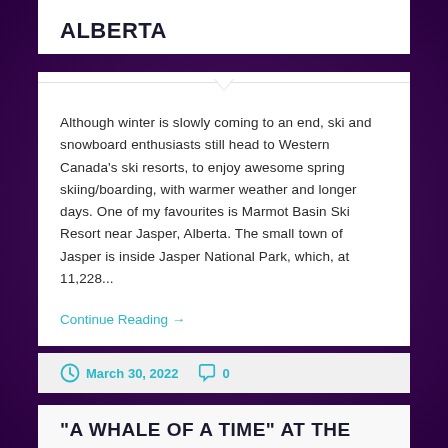ALBERTA
Although winter is slowly coming to an end, ski and snowboard enthusiasts still head to Western Canada's ski resorts, to enjoy awesome spring skiing/boarding, with warmer weather and longer days. One of my favourites is Marmot Basin Ski Resort near Jasper, Alberta. The small town of Jasper is inside Jasper National Park, which, at 11,228...
Continue Reading →
March 30, 2022   0
"A WHALE OF A TIME" AT THE